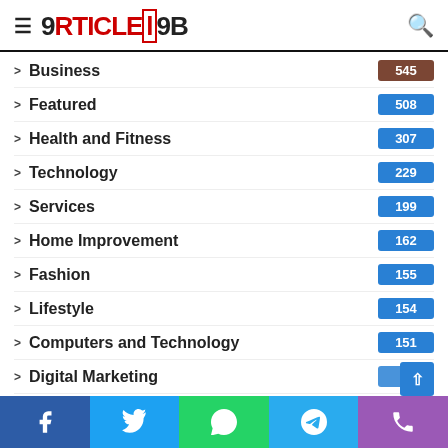ArticleLab
Business 545
Featured 508
Health and Fitness 307
Technology 229
Services 199
Home Improvement 162
Fashion 155
Lifestyle 154
Computers and Technology 151
Digital Marketing
Social share bar: Facebook, Twitter, WhatsApp, Telegram, Phone